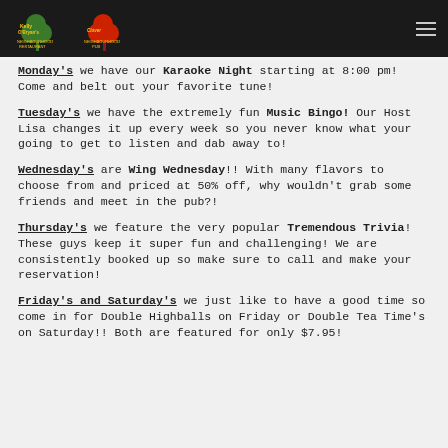[Figure (logo): Kelly O'Bryan's Neighbourhood Restaurant and shamrock logo alongside another shamrock logo for a Neighbourhood Pub, displayed on a dark header bar with a hamburger menu icon.]
Monday's we have our Karaoke Night starting at 8:00 pm! Come and belt out your favorite tune!
Tuesday's we have the extremely fun Music Bingo! Our Host Lisa changes it up every week so you never know what your going to get to listen and dab away to!
Wednesday's are Wing Wednesday!! With many flavors to choose from and priced at 50% off, why wouldn't grab some friends and meet in the pub?!
Thursday's we feature the very popular Tremendous Trivia! These guys keep it super fun and challenging! We are consistently booked up so make sure to call and make your reservation!
Friday's and Saturday's we just like to have a good time so come in for Double Highballs on Friday or Double Tea Time's on Saturday!! Both are featured for only $7.95!